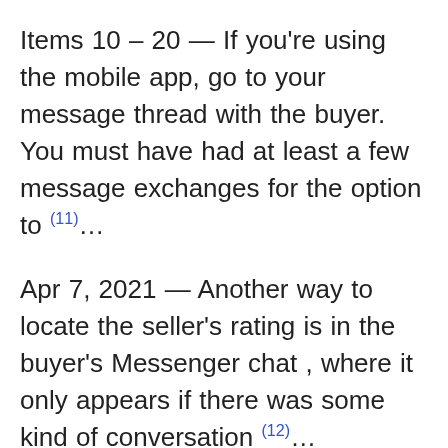Items 10 – 20 — If you're using the mobile app, go to your message thread with the buyer. You must have had at least a few message exchanges for the option to (11)...
Apr 7, 2021 — Another way to locate the seller's rating is in the buyer's Messenger chat , where it only appears if there was some kind of conversation (12)...
Nov 25, 2020 — Facebook marketplace